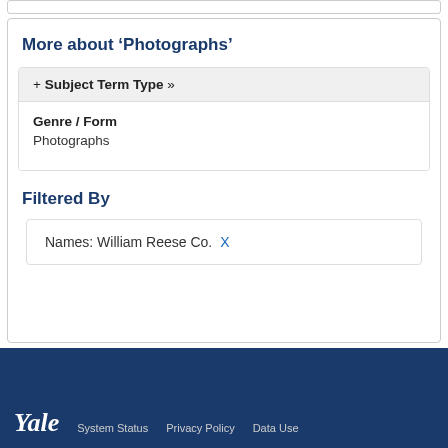More about ‘Photographs’
+ Subject Term Type »
Genre / Form
Photographs
Filtered By
Names: William Reese Co. X
Yale   System Status   Privacy Policy   Data Use